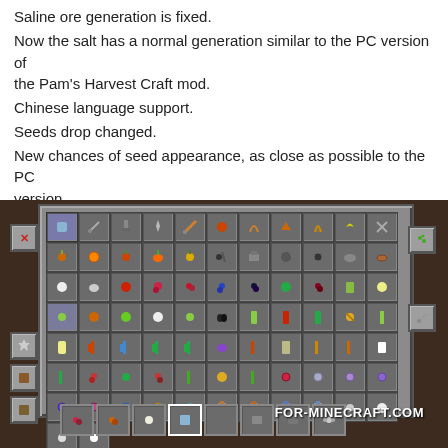Saline ore generation is fixed.
Now the salt has a normal generation similar to the PC version of the Pam's Harvest Craft mod.
Chinese language support.
Seeds drop changed.
New chances of seed appearance, as close as possible to the PC version.
Conflicts with Forestry PE are eliminated.
[Figure (screenshot): Minecraft Pocket Edition inventory screen showing the Pam's Harvest Craft mod items including tools, seeds, crops, and food items in a grid layout. Watermark reads FOR-MINECRAFT.COM]